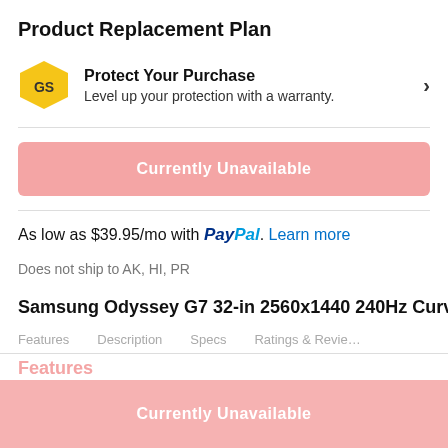Product Replacement Plan
Protect Your Purchase
Level up your protection with a warranty.
Currently Unavailable
As low as $39.95/mo with PayPal. Learn more
Does not ship to AK, HI, PR
Samsung Odyssey G7 32-in 2560x1440 240Hz Curve
Features  Description  Specs  Ratings & Reviews
Currently Unavailable
Features